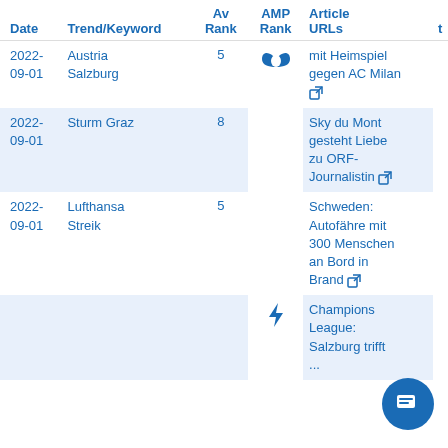| Date | Trend/Keyword | Av Rank | AMP Rank | Article URLs |
| --- | --- | --- | --- | --- |
| 2022-09-01 | Austria Salzburg | 5 | [logo] | mit Heimspiel gegen AC Milan [link] |
| 2022-09-01 | Sturm Graz | 8 |  | Sky du Mont gesteht Liebe zu ORF-Journalistin [link] |
| 2022-09-01 | Lufthansa Streik | 5 |  | Schweden: Autofähre mit 300 Menschen an Bord in Brand [link] |
|  |  |  | [lightning] | Champions League: Salzburg trifft... |